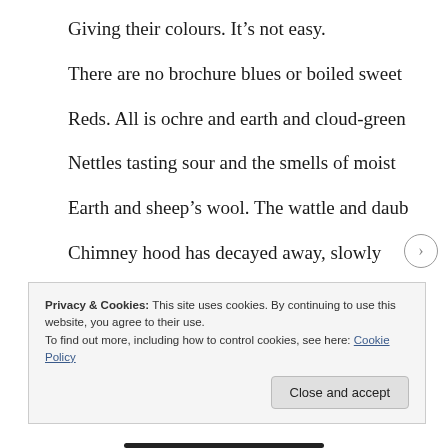Giving their colours. It’s not easy.
There are no brochure blues or boiled sweet
Reds. All is ochre and earth and cloud-green
Nettles tasting sour and the smells of moist
Earth and sheep’s wool. The wattle and daub
Chimney hood has decayed away, slowly
Privacy & Cookies: This site uses cookies. By continuing to use this website, you agree to their use.
To find out more, including how to control cookies, see here: Cookie Policy
Close and accept